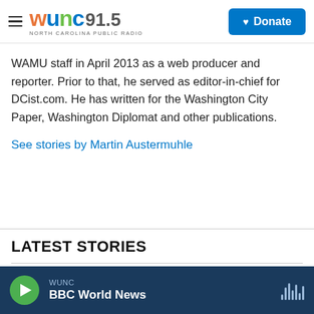WUNC 91.5 North Carolina Public Radio | Donate
WAMU staff in April 2013 as a web producer and reporter. Prior to that, he served as editor-in-chief for DCist.com. He has written for the Washington City Paper, Washington Diplomat and other publications.
See stories by Martin Austermuhle
LATEST STORIES
WUNC | BBC World News